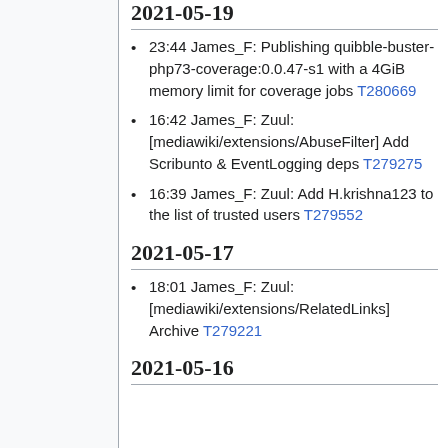2021-05-19
23:44 James_F: Publishing quibble-buster-php73-coverage:0.0.47-s1 with a 4GiB memory limit for coverage jobs T280669
16:42 James_F: Zuul: [mediawiki/extensions/AbuseFilter] Add Scribunto & EventLogging deps T279275
16:39 James_F: Zuul: Add H.krishna123 to the list of trusted users T279552
2021-05-17
18:01 James_F: Zuul: [mediawiki/extensions/RelatedLinks] Archive T279221
2021-05-16